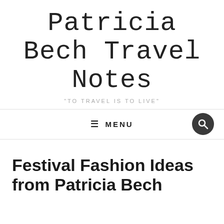Patricia Bech Travel Notes
"TO TRAVEL IS TO LIVE"
≡ MENU
Festival Fashion Ideas from Patricia Bech